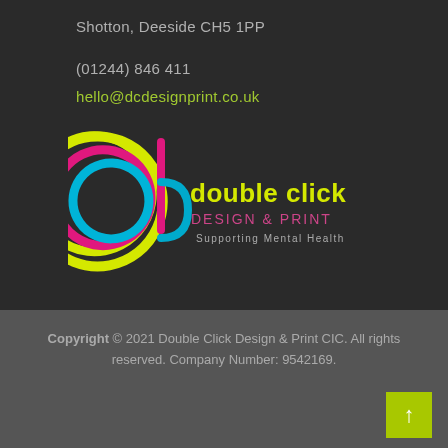Shotton, Deeside CH5 1PP
(01244) 846 411
hello@dcdesignprint.co.uk
[Figure (logo): Double Click Design & Print logo with colorful circular arc design and text 'double click DESIGN & PRINT Supporting Mental Health']
Copyright © 2021 Double Click Design & Print CIC. All rights reserved. Company Number: 9542169.